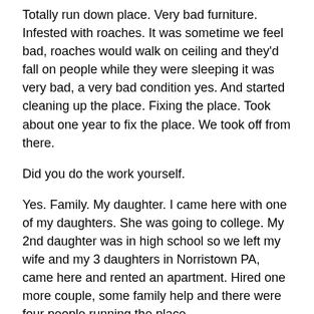Totally run down place. Very bad furniture. Infested with roaches. It was sometime we feel bad, roaches would walk on ceiling and they'd fall on people while they were sleeping it was very bad, a very bad condition yes. And started cleaning up the place. Fixing the place. Took about one year to fix the place. We took off from there.
Did you do the work yourself.
Yes. Family. My daughter. I came here with one of my daughters. She was going to college. My 2nd daughter was in high school so we left my wife and my 3 daughters in Norristown PA, came here and rented an apartment. Hired one more couple, some family help and there were four people running the place.
Did you live here?